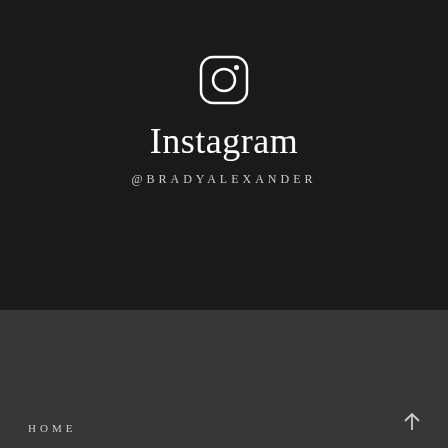[Figure (logo): Instagram icon — rounded square with circle and dot, white outline on dark background]
Instagram
@BRADYALEXANDER
HOME